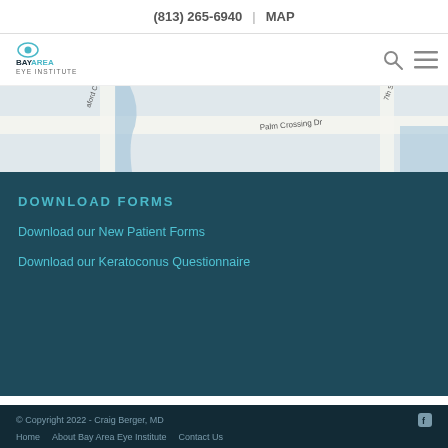(813) 265-6940  |  MAP
[Figure (logo): Bay Area Eye Institute logo with eye graphic]
[Figure (map): Street map showing Palm Crossing Dr area]
DOWNLOAD FORMS
Download our New Patient Forms
Download our Keratoconus Questionnaire
© Copyright 2022 - Craig Berger, MD
Home   About Bay Area Eye Institute   Contact Us